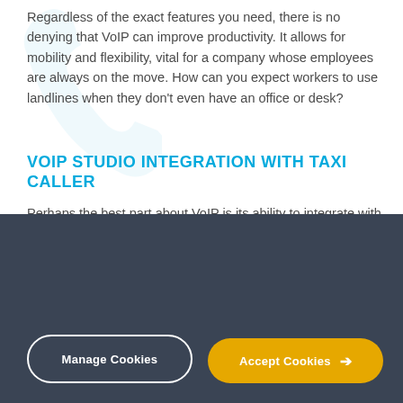Regardless of the exact features you need, there is no denying that VoIP can improve productivity. It allows for mobility and flexibility, vital for a company whose employees are always on the move. How can you expect workers to use landlines when they don't even have an office or desk?
VOIP STUDIO INTEGRATION WITH TAXI CALLER
Perhaps the best part about VoIP is its ability to integrate with
Our cookies
This site uses cookies to improve your user experience and deliver content tailored to you. To learn more about cookies and how you can disable them, please read our cookie policy.